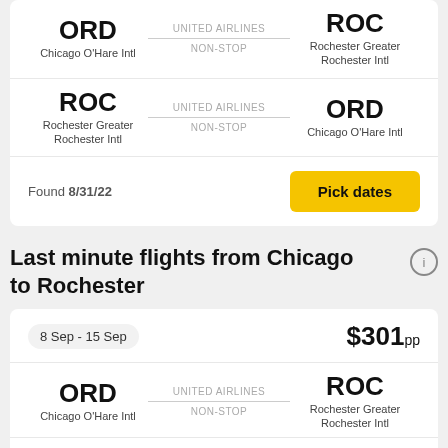ORD Chicago O'Hare Intl → UNITED AIRLINES NON-STOP → ROC Rochester Greater Rochester Intl
ROC Rochester Greater Rochester Intl → UNITED AIRLINES NON-STOP → ORD Chicago O'Hare Intl
Found 8/31/22
Pick dates
Last minute flights from Chicago to Rochester
8 Sep - 15 Sep
$301pp
ORD Chicago O'Hare Intl → UNITED AIRLINES NON-STOP → ROC Rochester Greater Rochester Intl
UNITED AIRLINES